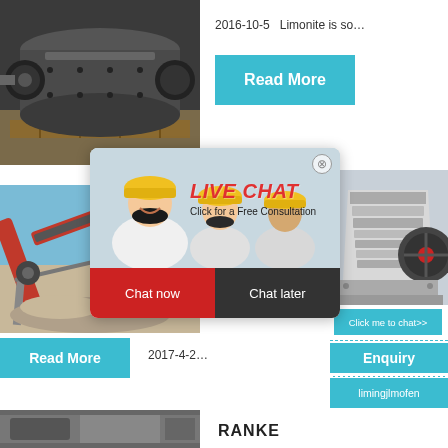[Figure (photo): Industrial machine/roller equipment in a workshop setting, dark metal components]
2016-10-5   Limonite is so…
Read More
[Figure (photo): Conveyor belt / screening machine outdoors with blue sky and gravel]
[Figure (photo): Crusher/jaw crusher machine, grey industrial equipment]
hour online
Click me to chat>>
Enquiry
limingjlmofen
Read More
2017-4-2...
[Figure (screenshot): Live Chat popup overlay showing workers in hard hats, LIVE CHAT heading in red italic, Chat now and Chat later buttons]
LIVE CHAT
Click for a Free Consultation
Chat now
Chat later
[Figure (photo): Bottom strip partial photo of industrial equipment]
RANKE